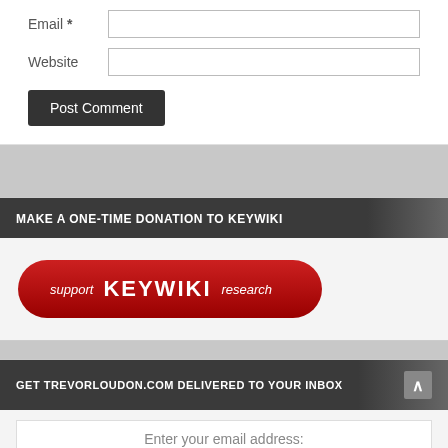Email *
Website
Post Comment
MAKE A ONE-TIME DONATION TO KEYWIKI
[Figure (logo): Red rounded button with text: support KEYWIKI research]
GET TREVORLOUDON.COM DELIVERED TO YOUR INBOX
Enter your email address: